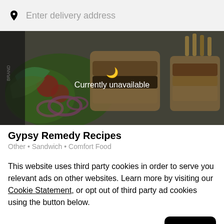Enter delivery address
[Figure (photo): Hero food image showing sandwiches, salads with onion rings, tomatoes, lettuce, with a 'Currently unavailable' overlay and moon icon]
Gypsy Remedy Recipes
Other • Sandwich • Comfort Food
This website uses third party cookies in order to serve you relevant ads on other websites. Learn more by visiting our Cookie Statement, or opt out of third party ad cookies using the button below.
Opt out
Got it